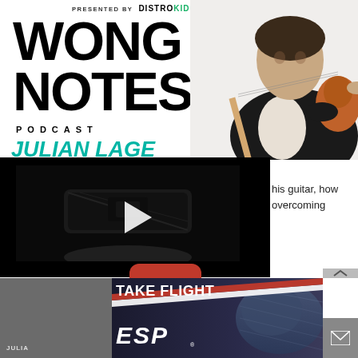[Figure (screenshot): Wong Notes Podcast webpage screenshot showing podcast branding with 'PRESENTED BY DISTROKID' header, 'WONG NOTES PODCAST' title in large bold text, 'JULIAN LAGE' in teal italic text, a musician holding a guitar in top-right, a video player with play button showing a guitar pedal, partial text about guitar and overcoming, a red blob UI element, a gray sidebar with scroll and close buttons, and an ESP 'TAKE FLIGHT' advertisement banner at the bottom]